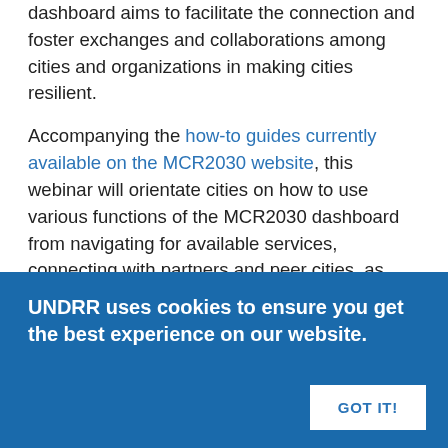dashboard aims to facilitate the connection and foster exchanges and collaborations among cities and organizations in making cities resilient.
Accompanying the how-to guides currently available on the MCR2030 website, this webinar will orientate cities on how to use various functions of the MCR2030 dashboard from navigating for available services, connecting with partners and peer cities, as well as sharing their insights and experience in their resilience actions.  It will also provide guidance steps for participating entities in listing their services and tools for easy access by MCR2030 cities.
Cities and participating entities already joining McR2030 but open to those who may be interested.
UNDRR uses cookies to ensure you get the best experience on our website.
GOT IT!